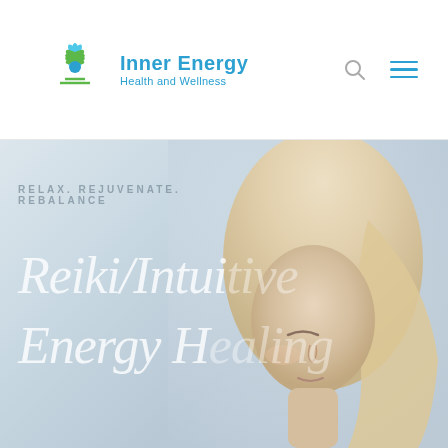Inner Energy Health and Wellness
[Figure (logo): Inner Energy Health and Wellness logo with a stylized plant/leaf icon in blue and green, alongside the brand name in blue text]
RELAX. REJUVENATE. REBALANCE
Reiki/Intuitive Energy Healing
[Figure (photo): A serene blonde woman with eyes closed, in a meditative or relaxed pose, shown against a soft light grey-blue background. The image forms the hero banner background of the website.]